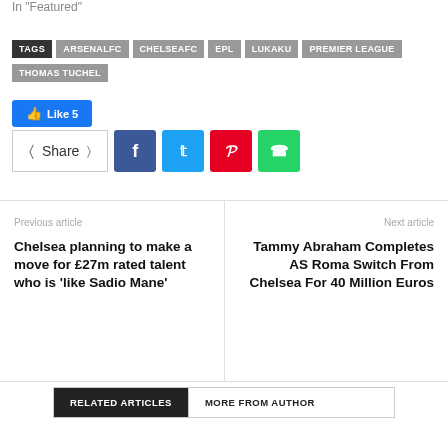In "Featured"
TAGS: ARSENALFC | CHELSEAFC | EPL | LUKAKU | PREMIER LEAGUE | THOMAS TUCHEL
Like 5
Share
Previous article
Chelsea planning to make a move for £27m rated talent who is 'like Sadio Mane'
Next article
Tammy Abraham Completes AS Roma Switch From Chelsea For 40 Million Euros
RELATED ARTICLES | MORE FROM AUTHOR